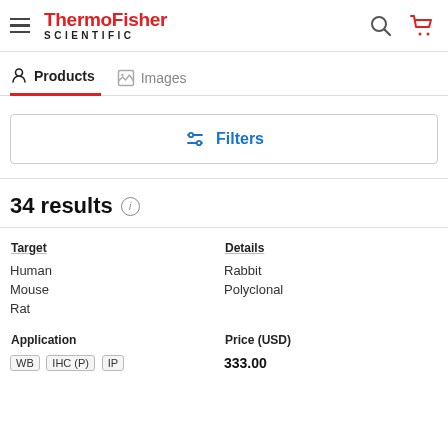ThermoFisher SCIENTIFIC
Products   Images
Filters
34 results
| Target | Details |
| --- | --- |
| Human | Rabbit |
| Mouse | Polyclonal |
| Rat |  |
| Application | Price (USD) |
| --- | --- |
| WB  IHC (P)  IP | 333.00 |